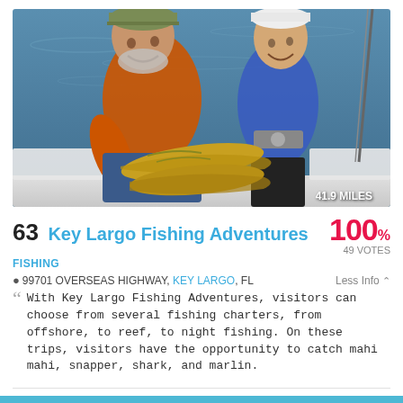[Figure (photo): Two people on a fishing boat holding large mahi-mahi fish. Man on left in orange shirt and camo hat, woman on right in blue jacket and white cap. Ocean in background. Badge reads '41.9 MILES'.]
63 Key Largo Fishing Adventures  100% 49 VOTES
FISHING
99701 OVERSEAS HIGHWAY, KEY LARGO, FL   Less Info
With Key Largo Fishing Adventures, visitors can choose from several fishing charters, from offshore, to reef, to night fishing. On these trips, visitors have the opportunity to catch mahi mahi, snapper, shark, and marlin.